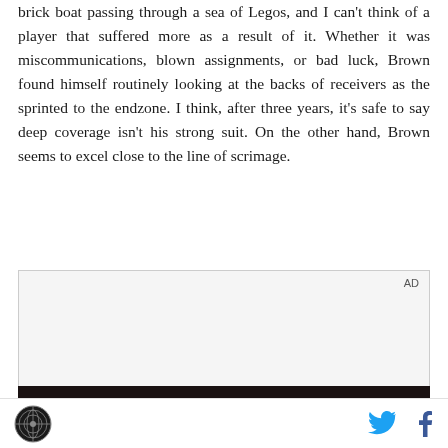brick boat passing through a sea of Legos, and I can't think of a player that suffered more as a result of it. Whether it was miscommunications, blown assignments, or bad luck, Brown found himself routinely looking at the backs of receivers as the sprinted to the endzone. I think, after three years, it's safe to say deep coverage isn't his strong suit. On the other hand, Brown seems to excel close to the line of scrimage.
[Figure (other): Advertisement placeholder box with 'AD' label in upper right, gray background]
[Figure (photo): Dark photo strip showing partial image, appears to be a sports/player photo with dark background]
Site logo | Twitter share icon | Facebook share icon